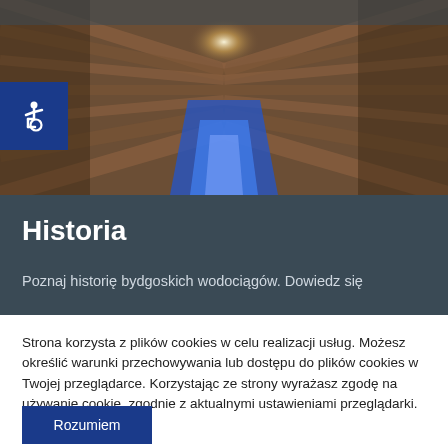[Figure (photo): Interior tunnel or corridor photo with wooden/brick walls converging to a blue-lit center, viewed from above/end perspective]
Historia
Poznaj historię bydgoskich wodociągów. Dowiedz się
Strona korzysta z plików cookies w celu realizacji usług. Możesz określić warunki przechowywania lub dostępu do plików cookies w Twojej przeglądarce. Korzystając ze strony wyrażasz zgodę na używanie cookie, zgodnie z aktualnymi ustawieniami przeglądarki.
Rozumiem